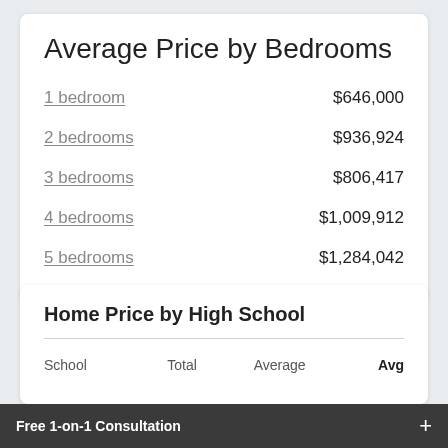Average Price by Bedrooms
1 bedroom   $646,000
2 bedrooms   $936,924
3 bedrooms   $806,417
4 bedrooms   $1,009,912
5 bedrooms   $1,284,042
Home Price by High School
| School | Total | Average | Avg |
| --- | --- | --- | --- |
Free 1-on-1 Consultation